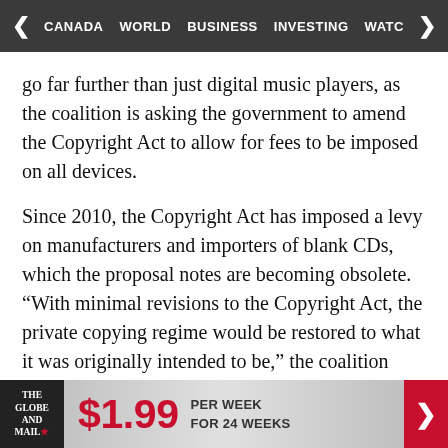CANADA  WORLD  BUSINESS  INVESTING  WATC
go far further than just digital music players, as the coalition is asking the government to amend the Copyright Act to allow for fees to be imposed on all devices.
Since 2010, the Copyright Act has imposed a levy on manufacturers and importers of blank CDs, which the proposal notes are becoming obsolete. “With minimal revisions to the Copyright Act, the private copying regime would be restored to what it was originally intended to be,” the coalition says in the proposal. “A flexible, technologically neutral system that monetizes private copying that cannot
THE GLOBE AND MAIL ★  $1.99  PER WEEK  FOR 24 WEEKS